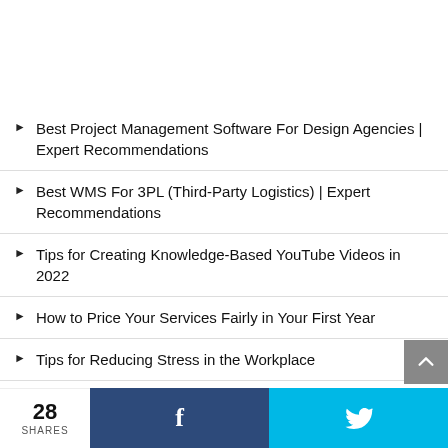Best Project Management Software For Design Agencies | Expert Recommendations
Best WMS For 3PL (Third-Party Logistics) | Expert Recommendations
Tips for Creating Knowledge-Based YouTube Videos in 2022
How to Price Your Services Fairly in Your First Year
Tips for Reducing Stress in the Workplace
Wireless Home Security Cameras
28 SHARES